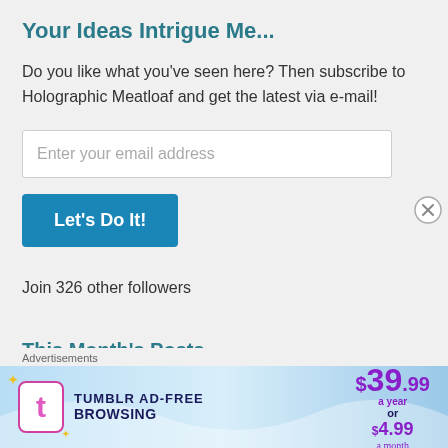Your Ideas Intrigue Me...
Do you like what you've seen here? Then subscribe to Holographic Meatloaf and get the latest via e-mail!
Enter your email address
Let's Do It!
Join 326 other followers
This Month's Posts
October 2009
[Figure (other): Tumblr Ad-Free Browsing advertisement banner showing price $39.99 a year or $4.99 a month]
Advertisements